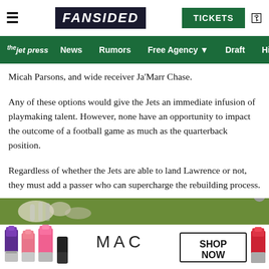FanSided | TICKETS
thejetpress  News  Rumors  Free Agency  Draft  Hist
Micah Parsons, and wide receiver Ja'Marr Chase.
Any of these options would give the Jets an immediate infusion of playmaking talent. However, none have an opportunity to impact the outcome of a football game as much as the quarterback position.
Regardless of whether the Jets are able to land Lawrence or not, they must add a passer who can supercharge the rebuilding process.
Next: Step 3: Add a top-tier pass catcher
[Figure (photo): Advertisement banner showing MAC cosmetics lipsticks with SHOP NOW button]